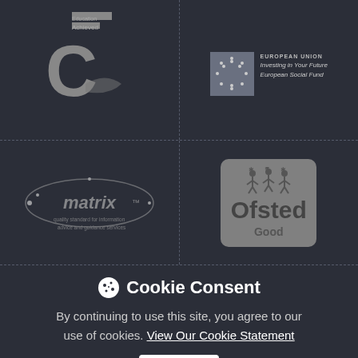[Figure (logo): CEC - Education Achieved logo, partial view showing grey C shape and horizontal bars]
[Figure (logo): European Union - Investing in Your Future - European Social Fund logo with EU flag stars]
[Figure (logo): matrix quality standard for information advice and guidance services logo]
[Figure (logo): Ofsted Good logo - grey rounded rectangle with Ofsted text and Good rating]
Cookie Consent
By continuing to use this site, you agree to our use of cookies. View Our Cookie Statement
Ok